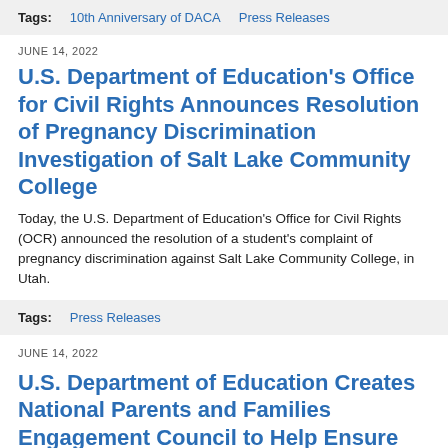Tags: 10th Anniversary of DACA  Press Releases
JUNE 14, 2022
U.S. Department of Education's Office for Civil Rights Announces Resolution of Pregnancy Discrimination Investigation of Salt Lake Community College
Today, the U.S. Department of Education's Office for Civil Rights (OCR) announced the resolution of a student's complaint of pregnancy discrimination against Salt Lake Community College, in Utah.
Tags: Press Releases
JUNE 14, 2022
U.S. Department of Education Creates National Parents and Families Engagement Council to Help Ensure